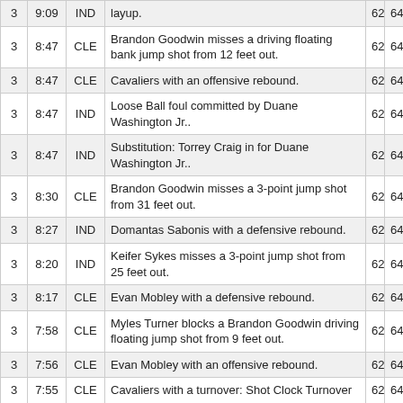| 3 | 9:09 | IND | layup. | 62 | 64 |
| 3 | 8:47 | CLE | Brandon Goodwin misses a driving floating bank jump shot from 12 feet out. | 62 | 64 |
| 3 | 8:47 | CLE | Cavaliers with an offensive rebound. | 62 | 64 |
| 3 | 8:47 | IND | Loose Ball foul committed by Duane Washington Jr.. | 62 | 64 |
| 3 | 8:47 | IND | Substitution: Torrey Craig in for Duane Washington Jr.. | 62 | 64 |
| 3 | 8:30 | CLE | Brandon Goodwin misses a 3-point jump shot from 31 feet out. | 62 | 64 |
| 3 | 8:27 | IND | Domantas Sabonis with a defensive rebound. | 62 | 64 |
| 3 | 8:20 | IND | Keifer Sykes misses a 3-point jump shot from 25 feet out. | 62 | 64 |
| 3 | 8:17 | CLE | Evan Mobley with a defensive rebound. | 62 | 64 |
| 3 | 7:58 | CLE | Myles Turner blocks a Brandon Goodwin driving floating jump shot from 9 feet out. | 62 | 64 |
| 3 | 7:56 | CLE | Evan Mobley with an offensive rebound. | 62 | 64 |
| 3 | 7:55 | CLE | Cavaliers with a turnover: Shot Clock Turnover | 62 | 64 |
| 3 | 7:55 | CLE | Substitution: Lamar Stevens in for Brandon Goodwin. | 62 | 64 |